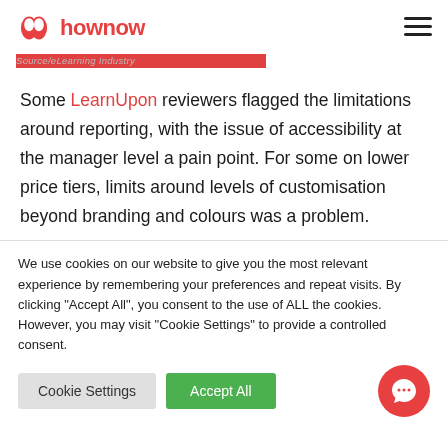hownow
Source/eLearning Industry
Some LearnUpon reviewers flagged the limitations around reporting, with the issue of accessibility at the manager level a pain point. For some on lower price tiers, limits around levels of customisation beyond branding and colours was a problem.
We use cookies on our website to give you the most relevant experience by remembering your preferences and repeat visits. By clicking "Accept All", you consent to the use of ALL the cookies. However, you may visit "Cookie Settings" to provide a controlled consent.